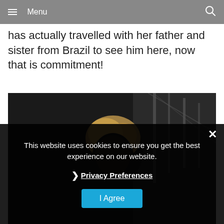≡ Menu
has actually travelled with her father and sister from Brazil to see him here, now that is commitment!
[Figure (photo): Close-up photo of a blonde person performing on stage against a dark background with stage rigging visible]
This website uses cookies to ensure you get the best experience on our website.
❯ Privacy Preferences
I Agree